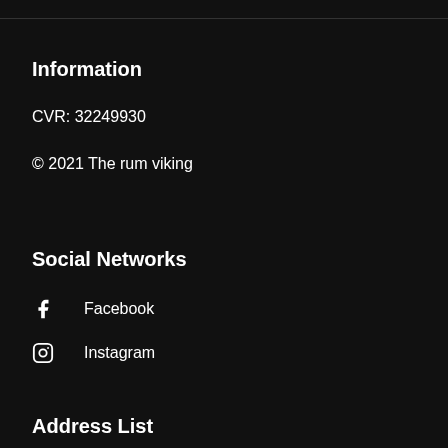Information
CVR: 32249930
© 2021 The rum viking
Social Networks
Facebook
Instagram
Address List